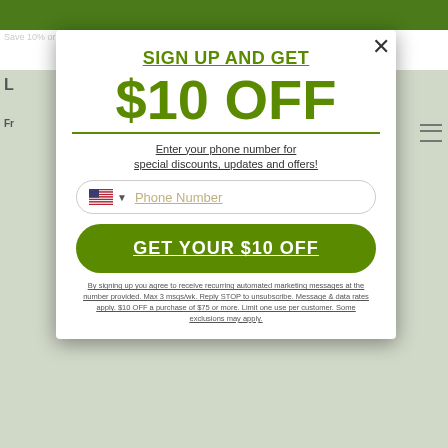SIGN UP AND GET
$10 OFF
Enter your phone number for special discounts, updates and offers!
Phone Number
GET YOUR $10 OFF
By signing up you agree to receive recurring automated marketing messages at the number provided. Max 3 msgs/wk. Reply STOP to unsubscribe. Message & data rates apply. $10 OFF a purchase of $75 or more. Limit one use per customer. Some exclusions may apply.